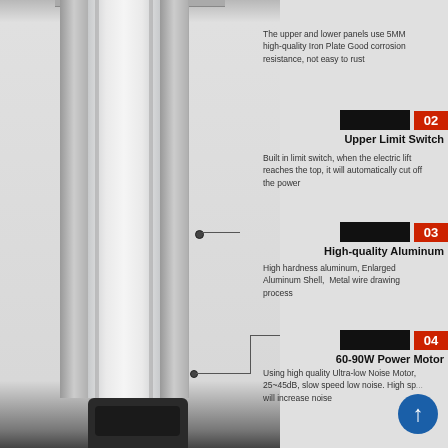[Figure (photo): Electric lift column product photo showing aluminum extrusion column with side rails and motor at bottom]
The upper and lower panels use 5MM high-quality Iron Plate Good corrosion resistance, not easy to rust
Upper Limit Switch 02
Built in limit switch, when the electric lift reaches the top, it will automatically cut off the power
High-quality Aluminum 03
High hardness aluminum, Enlarged Aluminum Shell, Metal wire drawing process
60-90W Power Motor 04
Using high quality Ultra-low Noise Motor, 25~45dB, slow speed low noise. High sp... will increase noise